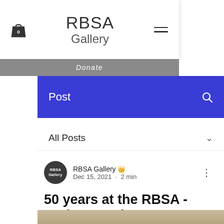RBSA Gallery
Donate
Post
All Posts
RBSA Gallery Admin
Dec 15, 2021 · 2 min
50 years at the RBSA - Andrew Matheson